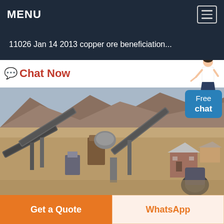MENU
11026 Jan 14 2013 copper ore beneficiation...
Chat Now
[Figure (photo): Mining/ore processing facility in arid landscape with conveyor belts, crushers, and industrial equipment against mountainous background]
Free chat
Get a Quote
WhatsApp